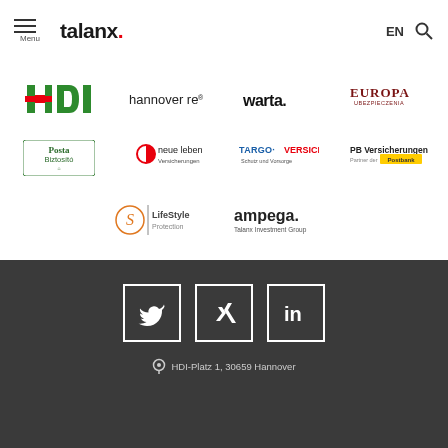Menu | talanx. | EN | Search
[Figure (logo): HDI logo - red H with white stripe, bold green text]
[Figure (logo): hannover re logo - lowercase sans-serif with registered trademark]
[Figure (logo): warta. logo - bold black lowercase sans-serif with period]
[Figure (logo): EUROPA UBEZPIECZENIA logo - serif caps with red accent]
[Figure (logo): Posta Biztosito logo - green text with leaf icon]
[Figure (logo): neue leben Versicherungen logo - red circle icon]
[Figure (logo): TARGO VERSICHERUNG Schutz und Vorsorge logo]
[Figure (logo): PB Versicherungen Partner der Postbank logo]
[Figure (logo): LifeStyle Protection logo - orange S circle icon]
[Figure (logo): ampega. Talanx Investment Group logo]
Social media icons: Twitter, Xing, LinkedIn | HDI-Platz 1, 30659 Hannover